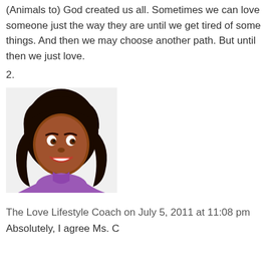(Animals to) God created us all. Sometimes we can love someone just the way they are until we get tired of some things. And then we may choose another path. But until then we just love.
2.
[Figure (illustration): Cartoon/animated avatar of a woman with dark curly hair and purple top, smiling]
The Love Lifestyle Coach on July 5, 2011 at 11:08 pm
Absolutely, I agree Ms. C
Recent Posts
Life is a Mystery Unfolded Through Mastery June 16, 2022